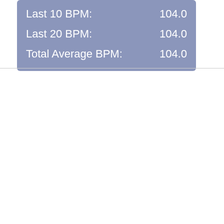| Metric | Value |
| --- | --- |
| Last 10 BPM: | 104.0 |
| Last 20 BPM: | 104.0 |
| Total Average BPM: | 104.0 |